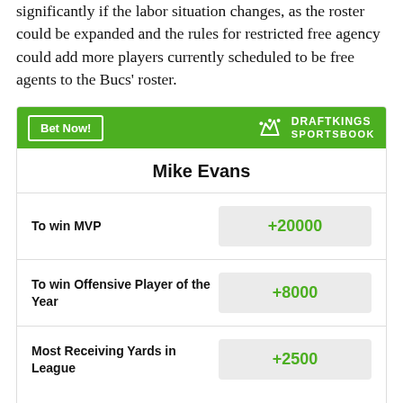significantly if the labor situation changes, as the roster could be expanded and the rules for restricted free agency could add more players currently scheduled to be free agents to the Bucs' roster.
| Mike Evans |  |
| --- | --- |
| To win MVP | +20000 |
| To win Offensive Player of the Year | +8000 |
| Most Receiving Yards in League | +2500 |
Odds/Lines subject to change. See draftkings.com for details.